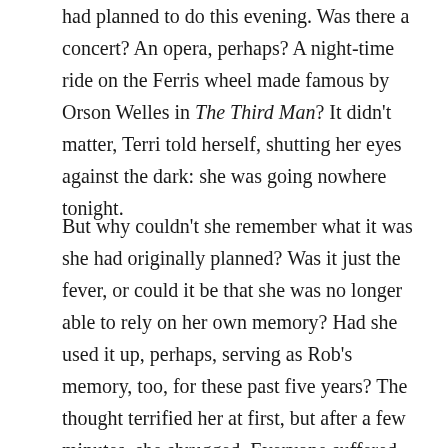had planned to do this evening. Was there a concert? An opera, perhaps? A night-time ride on the Ferris wheel made famous by Orson Welles in The Third Man? It didn't matter, Terri told herself, shutting her eyes against the dark: she was going nowhere tonight.
But why couldn't she remember what it was she had originally planned? Was it just the fever, or could it be that she was no longer able to rely on her own memory? Had she used it up, perhaps, serving as Rob's memory, too, for these past five years? The thought terrified her at first, but after a few minutes, she shrugged. Everyone suffered some memory decline, she realized. In fact, memories themselves decayed, growing less sharp, less precise, over time. What was she wearing when she first met Rob, anyway? What was their first argument about?